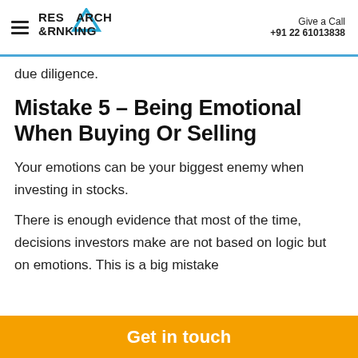Research & Ranking | Give a Call +91 22 61013838
due diligence.
Mistake 5 – Being Emotional When Buying Or Selling
Your emotions can be your biggest enemy when investing in stocks.
There is enough evidence that most of the time, decisions investors make are not based on logic but on emotions. This is a big mistake
Get in touch